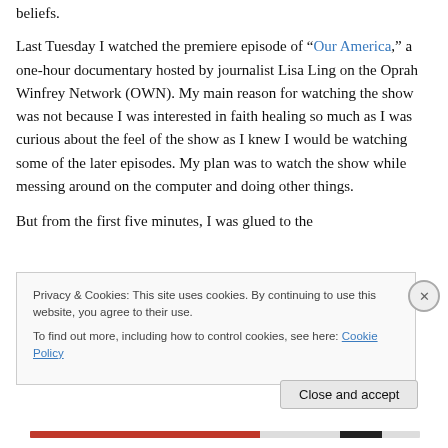beliefs.
Last Tuesday I watched the premiere episode of “Our America,” a one-hour documentary hosted by journalist Lisa Ling on the Oprah Winfrey Network (OWN). My main reason for watching the show was not because I was interested in faith healing so much as I was curious about the feel of the show as I knew I would be watching some of the later episodes. My plan was to watch the show while messing around on the computer and doing other things.
But from the first five minutes, I was glued to the
Privacy & Cookies: This site uses cookies. By continuing to use this website, you agree to their use.
To find out more, including how to control cookies, see here: Cookie Policy